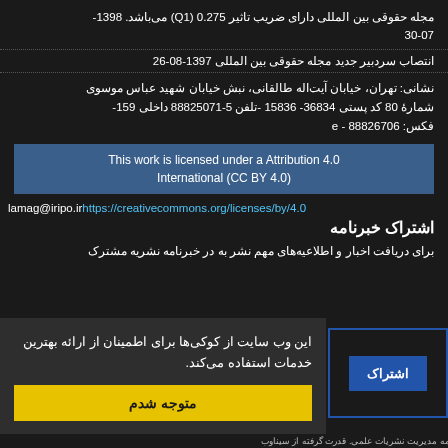مجله حقوقی بین المللی دارای ضریب تاثیر 0.275 (Q1) می‌باشد. 1398- 30-07
انتصاب سردبیر جدید مجله حقوقی بین المللی 1397-08-26
نشانی: تهران، خیابان آیت‌اله طالقانی، نبش خیابان شهید عباس موسوی شمارهٔ 80 کد پستی 36834- 15836 -تلفن 5-88825071 داخلی 159- فکس: 88826706 - e
This work is licensed under a Attribution 4.0 International (CC BY 4.0)
lamag@iripo.ir https://creativecommons.org/licenses/by/4.0
اشتراک خبرنامه
برای دریافت اخبار و اطلاعیه‌های مهم نشر به در خبرنامه نشریه مشترک
این وب سایت از کوکی‌ها برای اطمینان از ارائه بهترین خدمات استفاده می‌کند.
متوجه شدم
اشتراک
نامه مدیریت نشریات علمی. قدرت گرفته از سیناوب